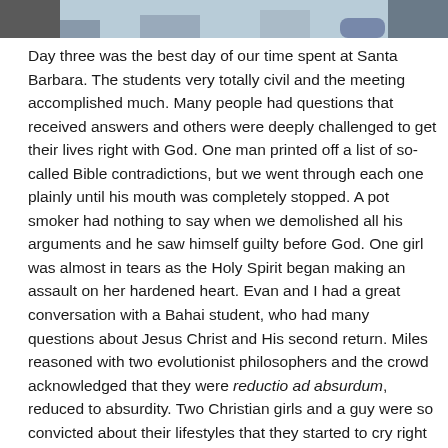[Figure (photo): Partial photo visible at the top of the page, showing what appears to be an outdoor scene with light blue and grey tones.]
Day three was the best day of our time spent at Santa Barbara. The students very totally civil and the meeting accomplished much. Many people had questions that received answers and others were deeply challenged to get their lives right with God. One man printed off a list of so-called Bible contradictions, but we went through each one plainly until his mouth was completely stopped. A pot smoker had nothing to say when we demolished all his arguments and he saw himself guilty before God. One girl was almost in tears as the Holy Spirit began making an assault on her hardened heart. Evan and I had a great conversation with a Bahai student, who had many questions about Jesus Christ and His second return. Miles reasoned with two evolutionist philosophers and the crowd acknowledged that they were reductio ad absurdum, reduced to absurdity. Two Christian girls and a guy were so convicted about their lifestyles that they started to cry right there in the meeting. Other Christians were encouraged in the Lord; one young man asked us to pray for him that he would have more of a hunger for the Word of God! We also met two Jews for